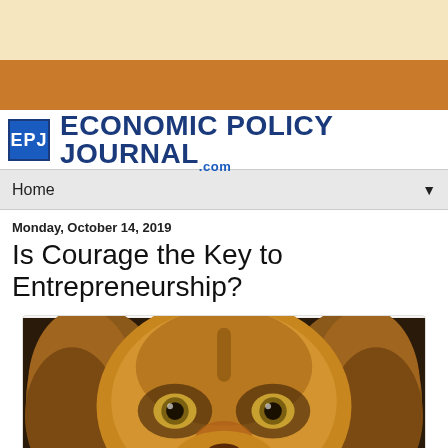ECONOMIC POLICY JOURNAL .com
Home
Monday, October 14, 2019
Is Courage the Key to Entrepreneurship?
[Figure (illustration): Close-up photo of a lion's face with the word COURAGE in large letters at the bottom, serving as a book or article cover image.]